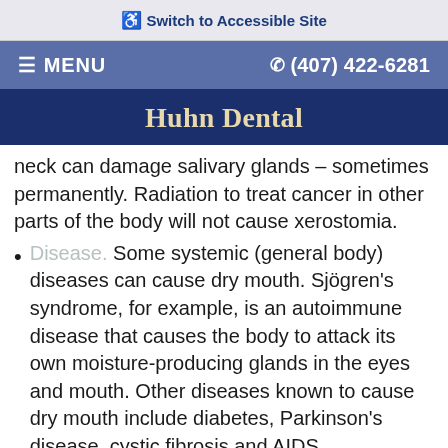♿ Switch to Accessible Site
☰ MENU   ✆ (407) 422-6281
Huhn Dental
neck can damage salivary glands — sometimes permanently. Radiation to treat cancer in other parts of the body will not cause xerostomia.
Disease. Some systemic (general body) diseases can cause dry mouth. Sjögren's syndrome, for example, is an autoimmune disease that causes the body to attack its own moisture-producing glands in the eyes and mouth. Other diseases known to cause dry mouth include diabetes, Parkinson's disease, cystic fibrosis and AIDS.
Nerve Damage. Trauma to the head or neck can damage the nerves involved in the